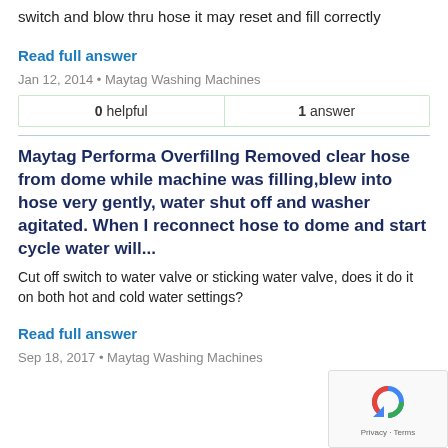Pressure switch stuck you can pop the hose off the switch and blow thru hose it may reset and fill correctly
Read full answer
Jan 12, 2014 • Maytag Washing Machines
| 0 helpful | 1 answer |
| --- | --- |
Maytag Performa Overfillng Removed clear hose from dome while machine was filling,blew into hose very gently, water shut off and washer agitated. When I reconnect hose to dome and start cycle water will...
Cut off switch to water valve or sticking water valve, does it do it on both hot and cold water settings?
Read full answer
Sep 18, 2017 • Maytag Washing Machines